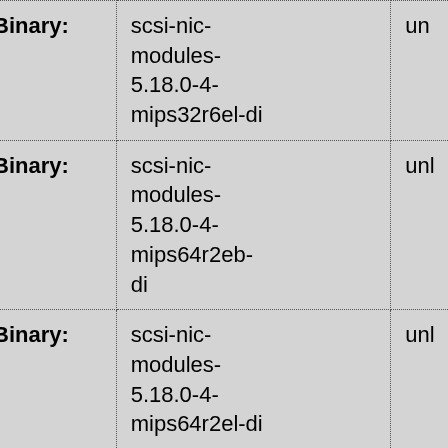|  | Binary: |  | unk |
| --- | --- | --- | --- |
| Binary: | scsi-nic-modules-5.18.0-4-mips32r6el-di | unr |
| Binary: | scsi-nic-modules-5.18.0-4-mips64r2eb-di | unr |
| Binary: | scsi-nic-modules-5.18.0-4-mips64r2el-di | unr |
| Binary: | scsi-nic-modules-5.18.0-4-mips64r6eb-di | unr |
| Binary: | scsi-nic-modules-5.18.0-4-mips64r6el-di | unr |
| Binary: | scsi-nic- | unr |